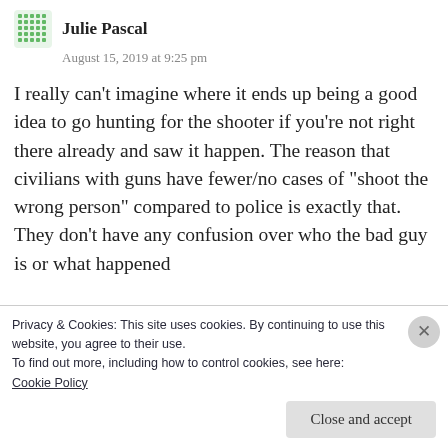Julie Pascal
August 15, 2019 at 9:25 pm
I really can't imagine where it ends up being a good idea to go hunting for the shooter if you're not right there already and saw it happen. The reason that civilians with guns have fewer/no cases of "shoot the wrong person" compared to police is exactly that. They don't have any confusion over who the bad guy is or what happened
Privacy & Cookies: This site uses cookies. By continuing to use this website, you agree to their use.
To find out more, including how to control cookies, see here:
Cookie Policy
Close and accept